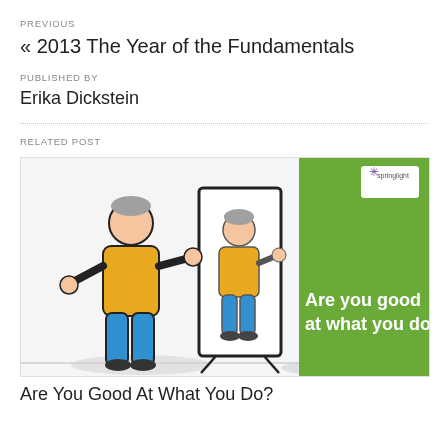PREVIOUS
« 2013 The Year of the Fundamentals
PUBLISHED BY
Erika Dickstein
RELATED POST
[Figure (illustration): Illustration of a man in a yellow sweater and blue pants pointing at his reflection in a mirror. The right half has a green background with white bold text reading 'Are you good at what you do?' and a small logo in the top right corner.]
Are You Good At What You Do?